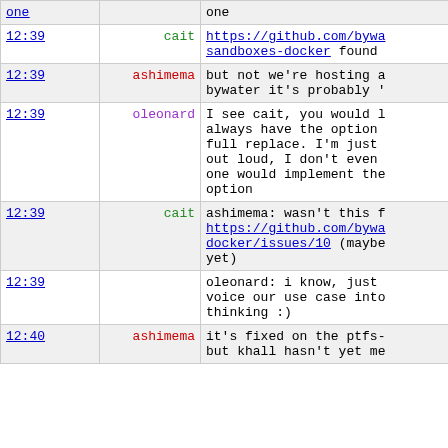| time | user | message |
| --- | --- | --- |
| 12:39 | cait | https://github.com/bywa sandboxes-docker found |
| 12:39 | ashimema | but not we're hosting a bywater it's probably ' |
| 12:39 | oleonard | I see cait, you would l always have the option full replace. I'm just out loud, I don't even one would implement the option |
| 12:39 | cait | ashimema: wasn't this f https://github.com/bywa docker/issues/10 (maybe yet) |
| 12:39 |  | oleonard: i know, just voice our use case into thinking :) |
| 12:40 | ashimema | it's fixed on the ptfs- but khall hasn't yet me |